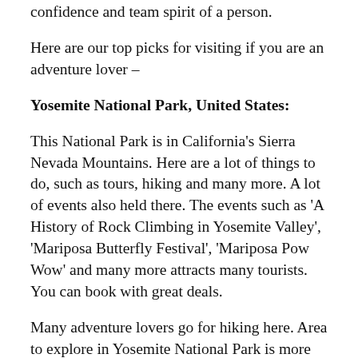confidence and team spirit of a person.
Here are our top picks for visiting if you are an adventure lover –
Yosemite National Park, United States:
This National Park is in California's Sierra Nevada Mountains. Here are a lot of things to do, such as tours, hiking and many more. A lot of events also held there. The events such as 'A History of Rock Climbing in Yosemite Valley', 'Mariposa Butterfly Festival', 'Mariposa Pow Wow' and many more attracts many tourists. You can book with great deals.
Many adventure lovers go for hiking here. Area to explore in Yosemite National Park is more than 1,000 square miles.
The hiking trails like Lembert Dome Hike, Rancheria Falls, Nevada Fall trail, Elizabeth Lake, Wapama Fall, Vernal Fall, Brice burg Hiking trail west, Panorama trail,